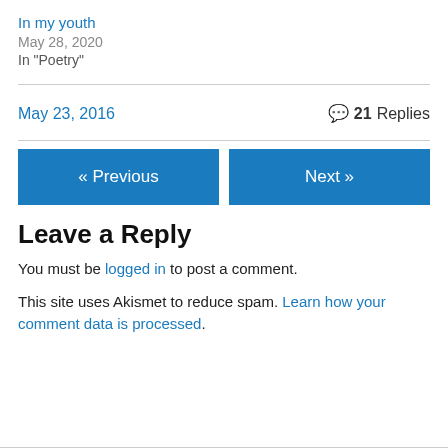In my youth
May 28, 2020
In "Poetry"
May 23, 2016
21 Replies
« Previous
Next »
Leave a Reply
You must be logged in to post a comment.
This site uses Akismet to reduce spam. Learn how your comment data is processed.